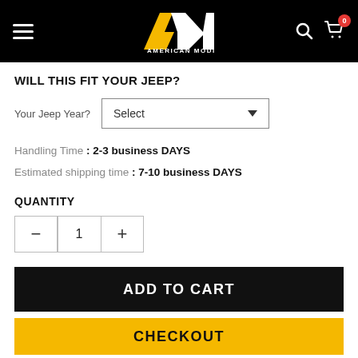[Figure (logo): American Modified logo - yellow and white stylized AM letters on black header bar with hamburger menu, search icon, and cart icon with badge '0']
WILL THIS FIT YOUR JEEP?
Your Jeep Year?  [Select dropdown]
Handling Time : 2-3 business DAYS
Estimated shipping time : 7-10 business DAYS
QUANTITY
Quantity control: minus, 1, plus
ADD TO CART
CHECKOUT